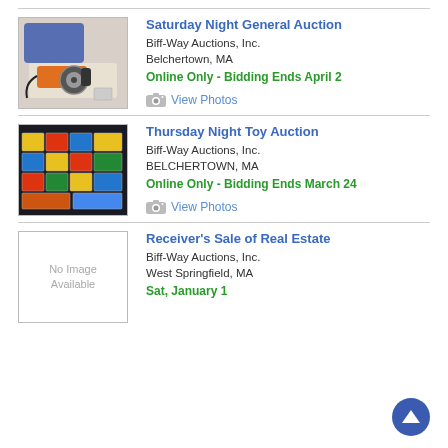[Figure (photo): Photo of a circular saw and tools]
Saturday Night General Auction
Biff-Way Auctions, Inc.
Belchertown, MA
Online Only - Bidding Ends April 2
View Photos
[Figure (photo): Photo of toy cars and boxes on a table]
Thursday Night Toy Auction
Biff-Way Auctions, Inc.
BELCHERTOWN, MA
Online Only - Bidding Ends March 24
View Photos
[Figure (other): No Image Available placeholder box]
Receiver's Sale of Real Estate
Biff-Way Auctions, Inc.
West Springfield, MA
Sat, January 1